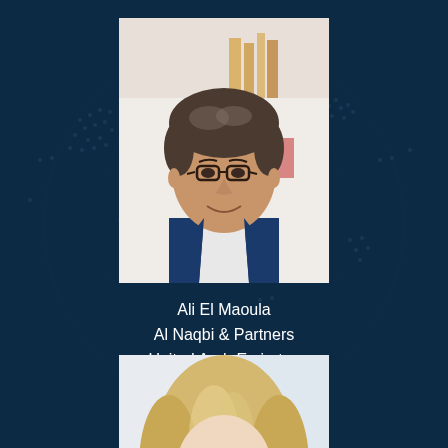[Figure (photo): Professional headshot of Ali El Maoula, a middle-aged man with dark hair and glasses, wearing a navy blue suit and white shirt, photographed against a light background]
Ali El Maoula
Al Naqbi & Partners
United Arab Emirates
[Figure (photo): Professional headshot of a blonde woman smiling, photographed against a light/white background]